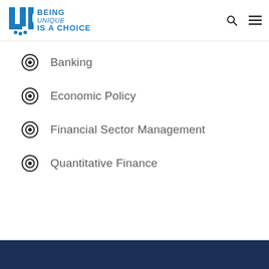UK — BEING UNIQUE IS A CHOICE
Banking
Economic Policy
Financial Sector Management
Quantitative Finance